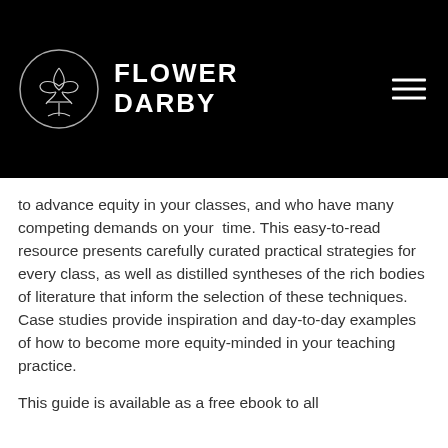[Figure (logo): Flower Darby logo with fleur-de-lis in circle and text FLOWER DARBY]
to advance equity in your classes, and who have many competing demands on your time. This easy-to-read resource presents carefully curated practical strategies for every class, as well as distilled syntheses of the rich bodies of literature that inform the selection of these techniques. Case studies provide inspiration and day-to-day examples of how to become more equity-minded in your teaching practice.
This guide is available as a free ebook to all